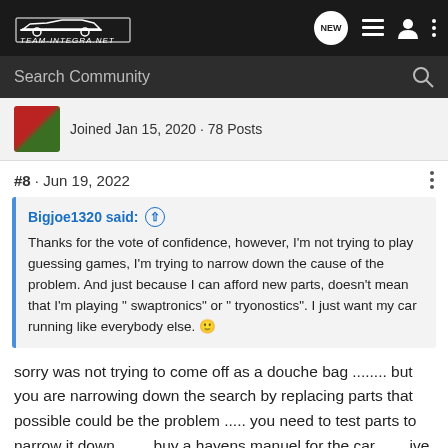Team-Integra.net navigation bar with logo, NEW button, list icon, user icon, more options
Search Community
Joined Jan 15, 2020 · 78 Posts
#8 · Jun 19, 2022
Bigjoe1320 said: (arrow up icon)
Thanks for the vote of confidence, however, I'm not trying to play guessing games, I'm trying to narrow down the cause of the problem. And just because I can afford new parts, doesn't mean that I'm playing " swaptronics" or " tryonostics". I just want my car running like everybody else. 🙂
sorry was not trying to come off as a douche bag ........ but you are narrowing down the search by replacing parts that possible could be the problem ..... you need to test parts to narrow it down ....... buy a hayens manuel for the car ...... ive seen it to many times people start swapping parts and the new parts burn